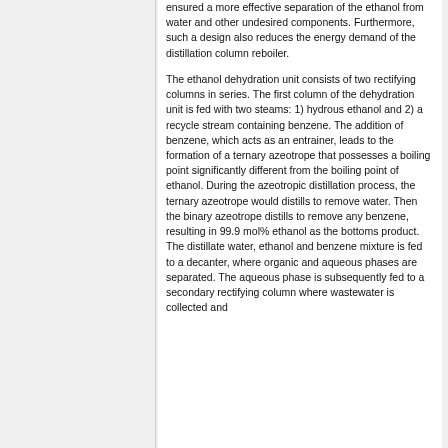ensured a more effective separation of the ethanol from water and other undesired components. Furthermore, such a design also reduces the energy demand of the distillation column reboiler.
The ethanol dehydration unit consists of two rectifying columns in series. The first column of the dehydration unit is fed with two steams: 1) hydrous ethanol and 2) a recycle stream containing benzene. The addition of benzene, which acts as an entrainer, leads to the formation of a ternary azeotrope that possesses a boiling point significantly different from the boiling point of ethanol. During the azeotropic distillation process, the ternary azeotrope would distills to remove water. Then the binary azeotrope distills to remove any benzene, resulting in 99.9 mol% ethanol as the bottoms product. The distillate water, ethanol and benzene mixture is fed to a decanter, where organic and aqueous phases are separated. The aqueous phase is subsequently fed to a secondary rectifying column where wastewater is collected and